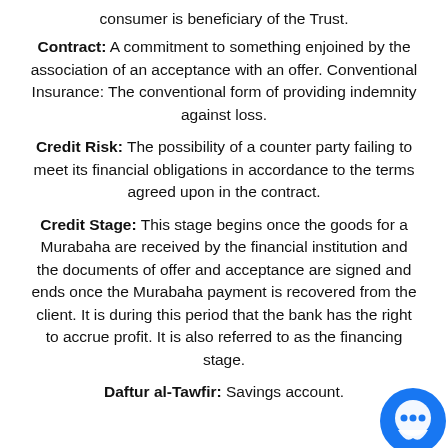consumer is beneficiary of the Trust.
Contract: A commitment to something enjoined by the association of an acceptance with an offer. Conventional Insurance: The conventional form of providing indemnity against loss.
Credit Risk: The possibility of a counter party failing to meet its financial obligations in accordance to the terms agreed upon in the contract.
Credit Stage: This stage begins once the goods for a Murabaha are received by the financial institution and the documents of offer and acceptance are signed and ends once the Murabaha payment is recovered from the client. It is during this period that the bank has the right to accrue profit. It is also referred to as the financing stage.
Daftur al-Tawfir: Savings account.